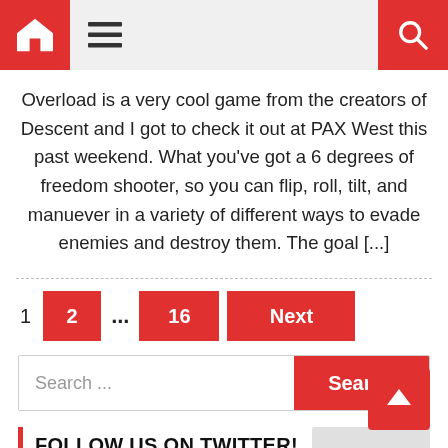Navigation bar with home, menu, and search icons
Overload is a very cool game from the creators of Descent and I got to check it out at PAX West this past weekend. What you've got a 6 degrees of freedom shooter, so you can flip, roll, tilt, and manuever in a variety of different ways to evade enemies and destroy them. The goal [...]
Pagination: 1, 2, ..., 16, Next
Search ...
FOLLOW US ON TWITTER!
Tweets from